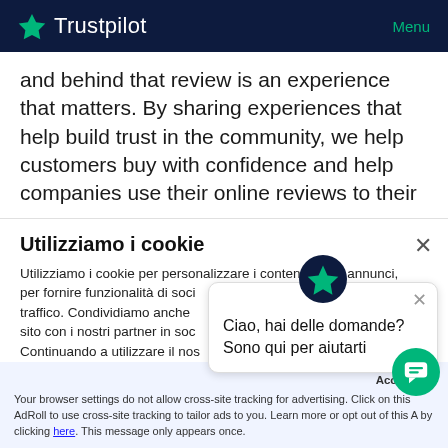Trustpilot  Menu
and behind that review is an experience that matters. By sharing experiences that help build trust in the community, we help customers buy with confidence and help companies use their online reviews to their
Utilizziamo i cookie
Utilizziamo i cookie per personalizzare i contenuti e gli annunci, per fornire funzionalità di soci traffico. Condividiamo anche sito con i nostri partner in so Continuando a utilizzare il nos cookie. Puoi accedere in qua preferenze sui cookie nel piè di pagina di questo sito.
Ciao, hai delle domande? Sono qui per aiutarti
Accept × Your browser settings do not allow cross-site tracking for advertising. Click on this AdRoll to use cross-site tracking to tailor ads to you. Learn more or opt out of this A by clicking here. This message only appears once.